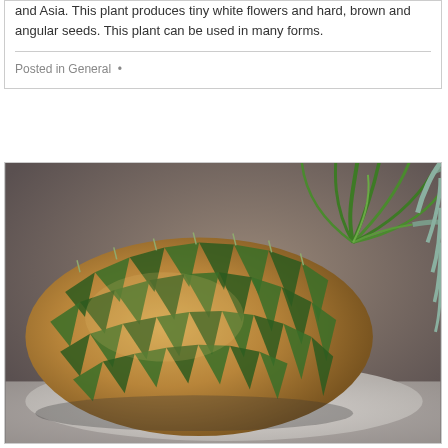and Asia. This plant produces tiny white flowers and hard, brown and angular seeds. This plant can be used in many forms.
Posted in General •
[Figure (photo): A close-up photograph of a pineapple lying on its side against a gray/brown background. The pineapple is shown from the side, with its green crown/leaves visible on the right side. The skin shows the characteristic geometric, brown and green pattern of pineapple scales.]